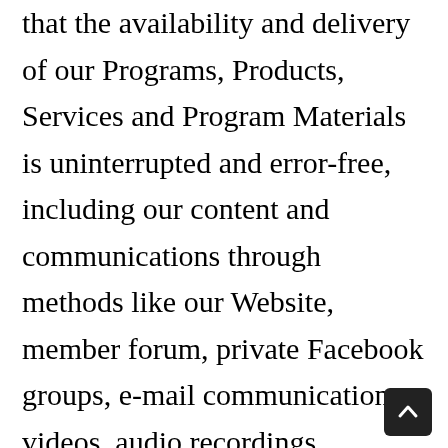that the availability and delivery of our Programs, Products, Services and Program Materials is uninterrupted and error-free, including our content and communications through methods like our Website, member forum, private Facebook groups, e-mail communications, videos, audio recordings, webinars, recorded webinars, teleseminars, recorded teleseminars, emails, downloadable Mp3 audio files, downloadable PDF printed transcripts, downloadable PDF handouts/slides, handouts, e-books, or any